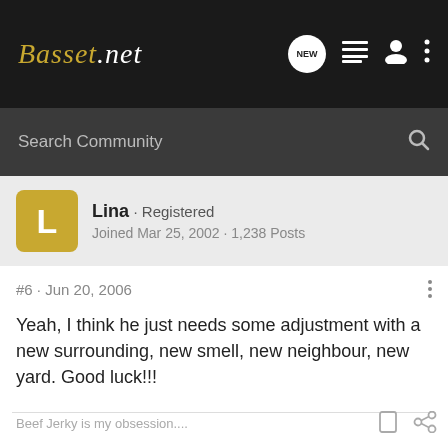Basset.net
Search Community
Lina · Registered
Joined Mar 25, 2002 · 1,238 Posts
#6 · Jun 20, 2006
Yeah, I think he just needs some adjustment with a new surrounding, new smell, new neighbour, new yard. Good luck!!!
Beef Jerky is my obsession....